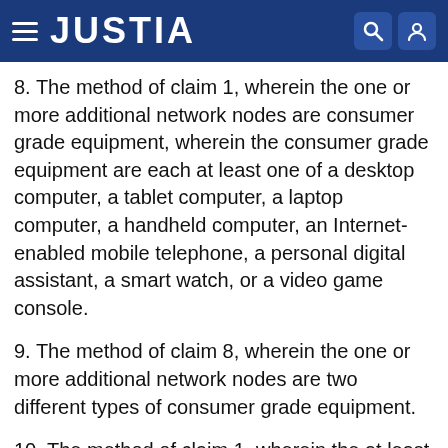JUSTIA
8. The method of claim 1, wherein the one or more additional network nodes are consumer grade equipment, wherein the consumer grade equipment are each at least one of a desktop computer, a tablet computer, a laptop computer, a handheld computer, an Internet-enabled mobile telephone, a personal digital assistant, a smart watch, or a video game console.
9. The method of claim 8, wherein the one or more additional network nodes are two different types of consumer grade equipment.
10. The method of claim 1, wherein the at least one second control node designates the one or more additional network nodes to process one or more portions of the computing task based at least in part on proximity of the one or more additional network nodes